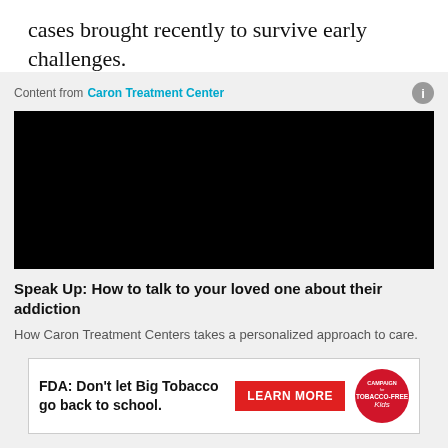cases brought recently to survive early challenges.
Content from Caron Treatment Center
[Figure (photo): Black video player thumbnail]
Speak Up: How to talk to your loved one about their addiction
How Caron Treatment Centers takes a personalized approach to care.
[Figure (infographic): FDA advertisement: Don't let Big Tobacco go back to school. Learn More. Campaign for Tobacco-Free Kids logo.]